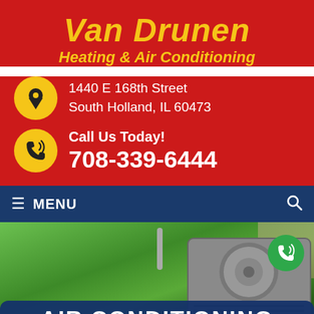Van Drunen Heating & Air Conditioning
1440 E 168th Street South Holland, IL 60473
Call Us Today! 708-339-6444
MENU
[Figure (photo): Outdoor air conditioning unit on green lawn next to a house]
AIR CONDITIONING
Home | Services | Air Conditioning